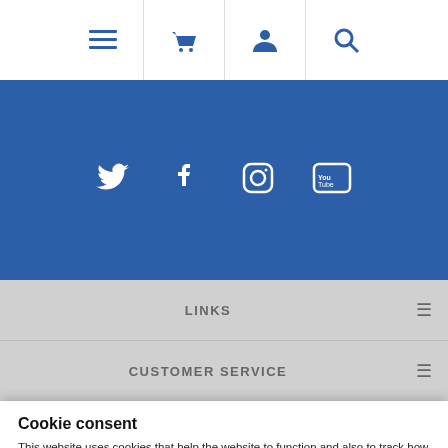Navigation bar with menu, basket, account, and search icons
[Figure (screenshot): Blue banner with social media icons: Twitter, Facebook, Instagram, YouTube]
LINKS
CUSTOMER SERVICE
Cookie consent
This website uses cookies that help the website to function and also to track how you interact with our website. But for us to provide the best user experience, enable the specific cookies from Settings, and click on Accept.
Preferences  Reject All  Accept All